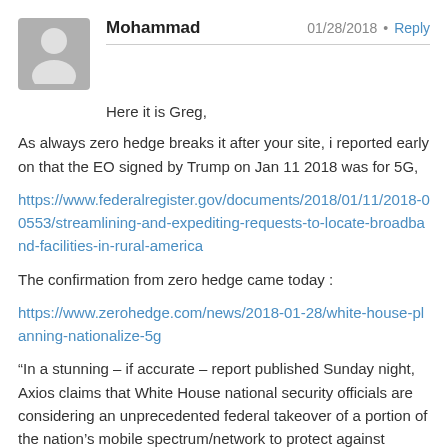Mohammad   01/28/2018 • Reply
Here it is Greg,

As always zero hedge breaks it after your site, i reported early on that the EO signed by Trump on Jan 11 2018 was for 5G,

https://www.federalregister.gov/documents/2018/01/11/2018-00553/streamlining-and-expediting-requests-to-locate-broadband-facilities-in-rural-america

The confirmation from zero hedge came today :

https://www.zerohedge.com/news/2018-01-28/white-house-planning-nationalize-5g

“In a stunning – if accurate – report published Sunday night, Axios claims that White House national security officials are considering an unprecedented federal takeover of a portion of the nation’s mobile spectrum/network to protect against Chinese attacks, in what may well be a pre-emptive shot, hinting at upcoming trade wars between the two superpowers.”